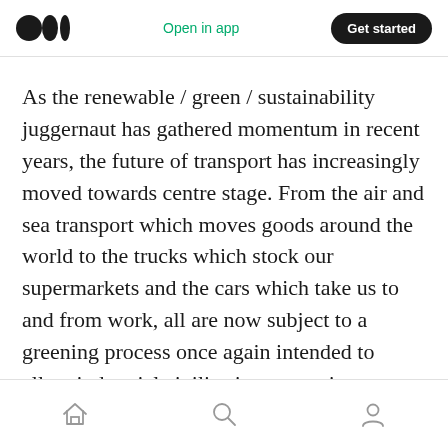Medium logo | Open in app | Get started
As the renewable / green / sustainability juggernaut has gathered momentum in recent years, the future of transport has increasingly moved towards centre stage. From the air and sea transport which moves goods around the world to the trucks which stock our supermarkets and the cars which take us to and from work, all are now subject to a greening process once again intended to allow industrial civilisation to continue developing at breakneck pace minus any serious environmental impact.
Home | Search | Profile